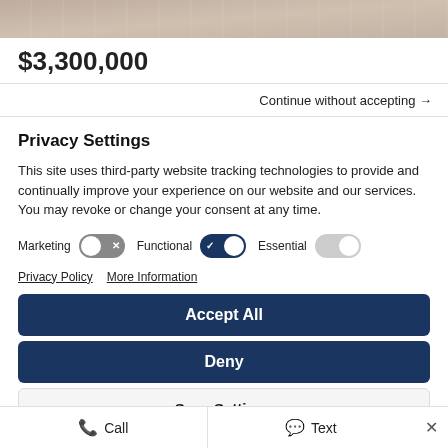[Figure (photo): Partial photo strip showing stone or tile flooring texture]
$3,300,000
Continue without accepting →
Privacy Settings
This site uses third-party website tracking technologies to provide and continually improve your experience on our website and our services. You may revoke or change your consent at any time.
Marketing [toggle off] Functional [toggle on] Essential [toggle disabled]
Privacy Policy   More Information
Accept All
Deny
Save Settings
📞 Call   💬 Text   ×